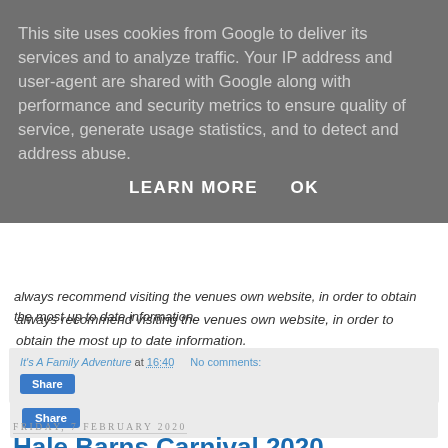This site uses cookies from Google to deliver its services and to analyze traffic. Your IP address and user-agent are shared with Google along with performance and security metrics to ensure quality of service, generate usage statistics, and to detect and address abuse.
LEARN MORE    OK
always recommend visiting the venues own website, in order to obtain the most up to date information.
It’s A Family Adventure at 16:40   No comments:
Share
Friday, 7 February 2020
Hale Barns Carnival 2020 Announces Three Headline Concerts
Three headline acts have been announced for Hale Barns